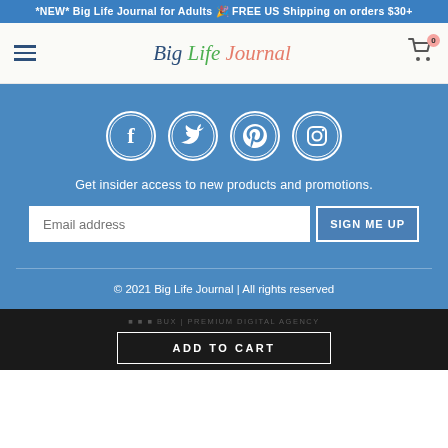*NEW* Big Life Journal for Adults 🎉 FREE US Shipping on orders $30+
[Figure (screenshot): Navigation bar with hamburger menu, Big Life Journal logo, and cart icon with 0 badge]
[Figure (infographic): Four social media icons in circles: Facebook, Twitter, Pinterest, Instagram]
Get insider access to new products and promotions.
Email address | SIGN ME UP button
© 2021 Big Life Journal | All rights reserved
ADD TO CART